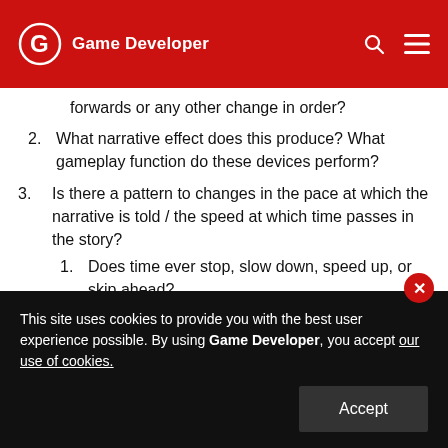Game Developer
forwards or any other change in order?
2. What narrative effect does this produce? What gameplay function do these devices perform?
3. Is there a pattern to changes in the pace at which the narrative is told / the speed at which time passes in the story?
1. Does time ever stop, slow down, speed up, or skip ahead?
4. Are game events ever repeated? Does this have an impact on the player's experience?
This site uses cookies to provide you with the best user experience possible. By using Game Developer, you accept our use of cookies.